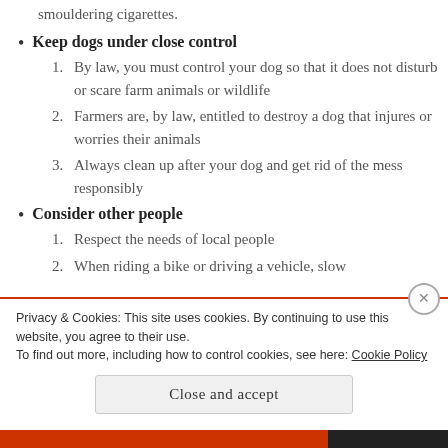smouldering cigarettes.
Keep dogs under close control
1. By law, you must control your dog so that it does not disturb or scare farm animals or wildlife
2. Farmers are, by law, entitled to destroy a dog that injures or worries their animals
3. Always clean up after your dog and get rid of the mess responsibly
Consider other people
1. Respect the needs of local people
2. When riding a bike or driving a vehicle, slow
Privacy & Cookies: This site uses cookies. By continuing to use this website, you agree to their use.
To find out more, including how to control cookies, see here: Cookie Policy
Close and accept